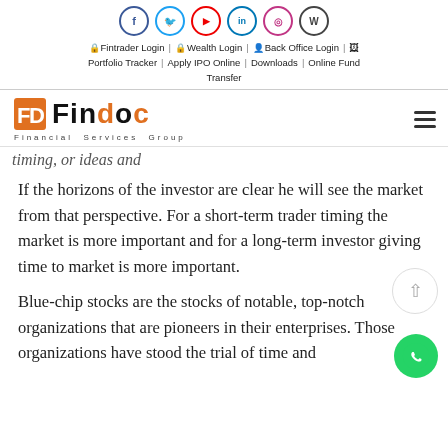[Figure (logo): Social media icons row: Facebook, Twitter, YouTube, LinkedIn, Instagram, Wikipedia]
🔒 Fintrader Login | 🔒 Wealth Login | 👤 Back Office Login | 🖼 Portfolio Tracker | Apply IPO Online | Downloads | Online Fund Transfer
[Figure (logo): FINDOC Financial Services Group logo with orange FD icon]
timing, or ideas and
If the horizons of the investor are clear he will see the market from that perspective. For a short-term trader timing the market is more important and for a long-term investor giving time to market is more important.
Blue-chip stocks are the stocks of notable, top-notch organizations that are pioneers in their enterprises. Those organizations have stood the trial of time and